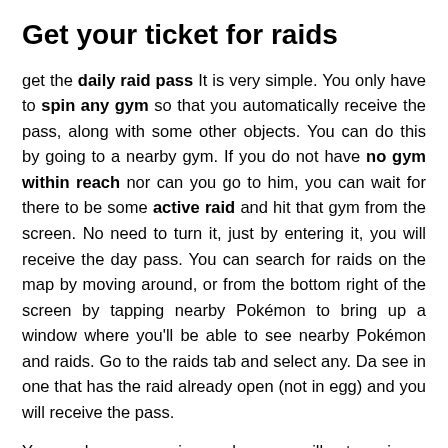Get your ticket for raids
get the daily raid pass It is very simple. You only have to spin any gym so that you automatically receive the pass, along with some other objects. You can do this by going to a nearby gym. If you do not have no gym within reach nor can you go to him, you can wait for there to be some active raid and hit that gym from the screen. No need to turn it, just by entering it, you will receive the day pass. You can search for raids on the map by moving around, or from the bottom right of the screen by tapping nearby Pokémon to bring up a window where you'll be able to see nearby Pokémon and raids. Go to the raids tab and select any. Da see in one that has the raid already open (not in egg) and you will receive the pass.
Yes you have a pass in your bag, you will not receive